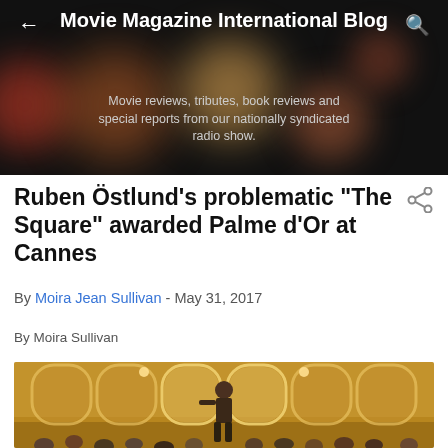Movie Magazine International Blog
Movie reviews, tributes, book reviews and special reports from our nationally syndicated radio show.
Ruben Östlund's problematic "The Square" awarded Palme d'Or at Cannes
By Moira Jean Sullivan - May 31, 2017
By Moira Sullivan
[Figure (photo): A shirtless man standing in an ornate gold ballroom with arched windows and chandeliers, with an audience seated below]